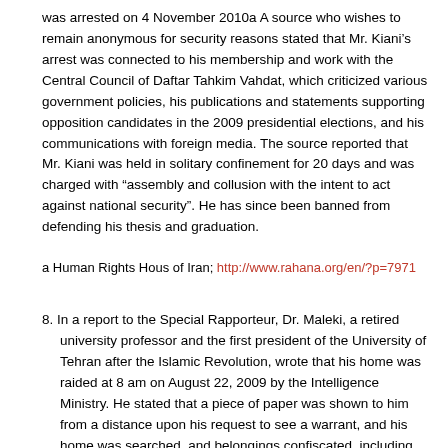was arrested on 4 November 2010a A source who wishes to remain anonymous for security reasons stated that Mr. Kiani’s arrest was connected to his membership and work with the Central Council of Daftar Tahkim Vahdat, which criticized various government policies, his publications and statements supporting opposition candidates in the 2009 presidential elections, and his communications with foreign media. The source reported that Mr. Kiani was held in solitary confinement for 20 days and was charged with “assembly and collusion with the intent to act against national security”. He has since been banned from defending his thesis and graduation.
a Human Rights Hous of Iran; http://www.rahana.org/en/?p=7971
8. In a report to the Special Rapporteur, Dr. Maleki, a retired university professor and the first president of the University of Tehran after the Islamic Revolution, wrote that his home was raided at 8 am on August 22, 2009 by the Intelligence Ministry. He stated that a piece of paper was shown to him from a distance upon his request to see a warrant, and his home was searched, and belongings confiscated, including legal books, his computer hard disk, cell phone and medical equipment. He was arrested on his sick-bed, transferred to Evin Prison, and placed in solitary confinement for approximately